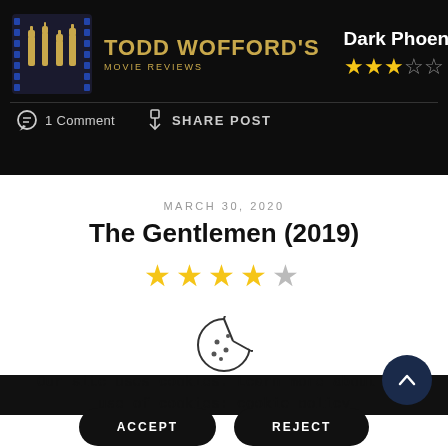TODD WOFFORD'S MOVIE REVIEWS — Dark Phoenix (2019) ★★★☆☆ — 1 Comment | SHARE POST
MARCH 30, 2020
The Gentlemen (2019)
[Figure (illustration): Star rating: 3.5 out of 5 gold stars]
Our site uses cookies. Learn more about our use of cookies: cookie policy
ACCEPT | REJECT